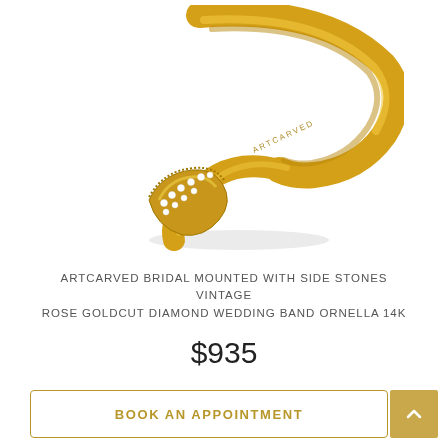[Figure (photo): Gold open-band diamond wedding ring (ArtCarved Ornella 14K) with diamond-set tip and engraved brand name, photographed on white background]
ARTCARVED BRIDAL MOUNTED WITH SIDE STONES VINTAGE ROSE GOLDCUT DIAMOND WEDDING BAND ORNELLA 14K
$935
BOOK AN APPOINTMENT